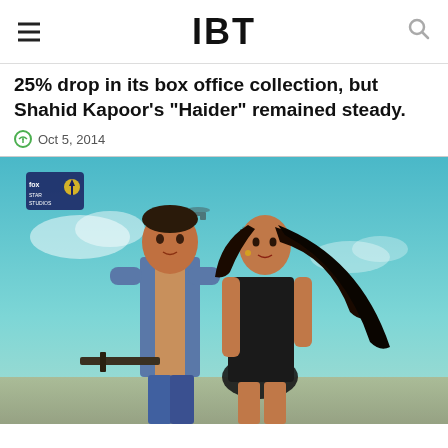IBT
25% drop in its box office collection, but Shahid Kapoor's "Haider" remained steady.
Oct 5, 2014
[Figure (photo): Movie promotional poster showing two actors — a man in a blue vest holding a gun and a woman in black, posed together against a sky background. A Fox Star Studios watermark is visible in the top left.]